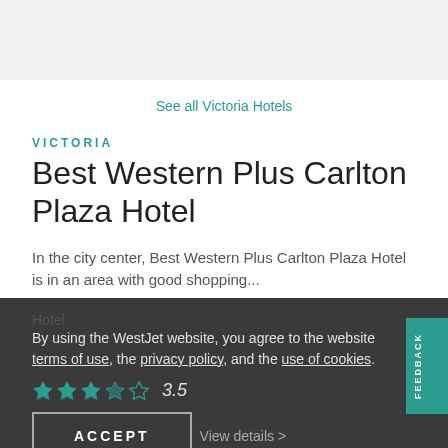See all Victoria Hotels
VICTORIA
Best Western Plus Carlton Plaza Hotel
In the city center, Best Western Plus Carlton Plaza Hotel is in an area with good shopping...
Hotel
By using the WestJet website, you agree to the website terms of use, the privacy policy, and the use of cookies.
3.5
ACCEPT
View details >